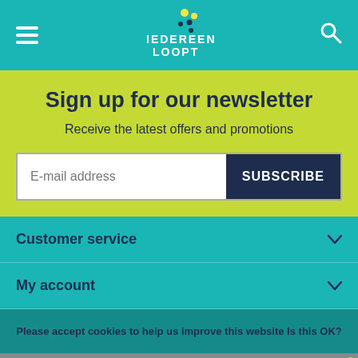Iedereen Loopt — navigation header with hamburger menu, logo, and search icon
Sign up for our newsletter
Receive the latest offers and promotions
E-mail address  SUBSCRIBE
Customer service
My account
Categories
Please accept cookies to help us improve this website Is this OK?
english  Yes  No  login  9,5  cart